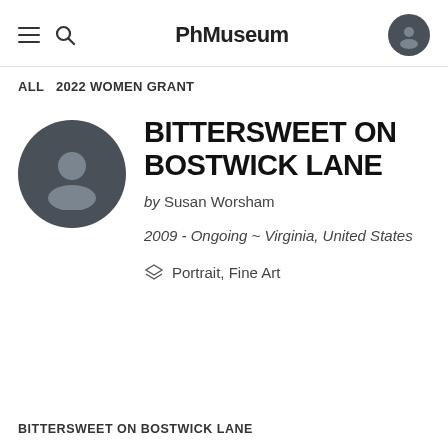PhMuseum
ALL   2022 WOMEN GRANT
BITTERSWEET ON BOSTWICK LANE
by Susan Worsham
2009 - Ongoing ~ Virginia, United States
Portrait, Fine Art
BITTERSWEET ON BOSTWICK LANE